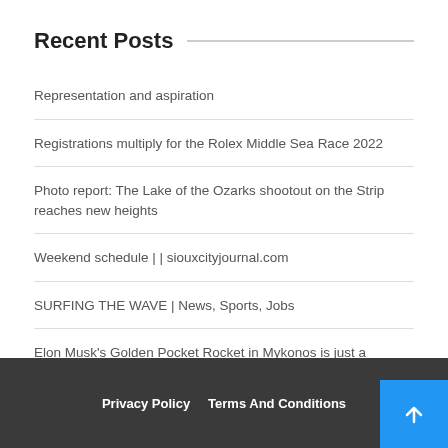Recent Posts
Representation and aspiration
Registrations multiply for the Rolex Middle Sea Race 2022
Photo report: The Lake of the Ozarks shootout on the Strip reaches new heights
Weekend schedule | | siouxcityjournal.com
SURFING THE WAVE | News, Sports, Jobs
Elon Musk's Golden Pocket Rocket in Mykonos is just a superyacht
Privacy Policy   Terms And Conditions